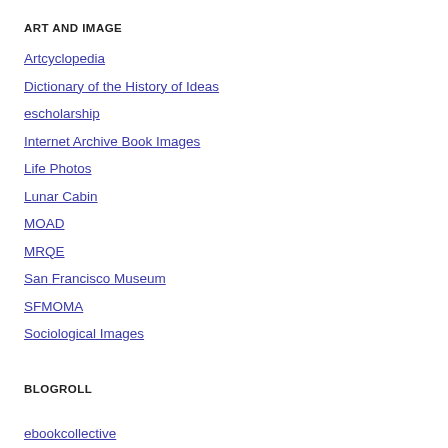ART AND IMAGE
Artcyclopedia
Dictionary of the History of Ideas
escholarship
Internet Archive Book Images
Life Photos
Lunar Cabin
MOAD
MRQE
San Francisco Museum
SFMOMA
Sociological Images
BLOGROLL
ebookcollective
Maps